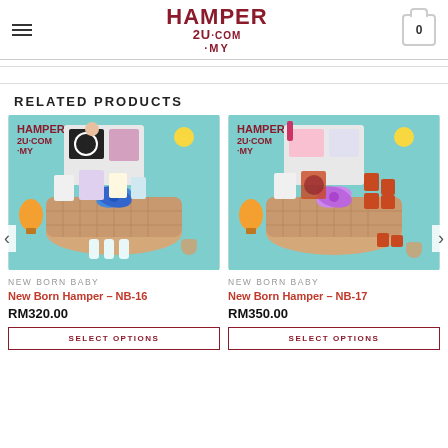[Figure (logo): Hamper2U.com.my logo in dark red/maroon with hamburger menu and cart icon]
RELATED PRODUCTS
[Figure (photo): New Born Baby hamper NB-16 in wicker basket with blue bow and baby items]
NEW BORN BABY
New Born Hamper – NB-16
RM320.00
SELECT OPTIONS
[Figure (photo): New Born Baby hamper NB-17 in wicker basket with pink/purple bow and baby items including honey jars]
NEW BORN BABY
New Born Hamper – NB-17
RM350.00
SELECT OPTIONS